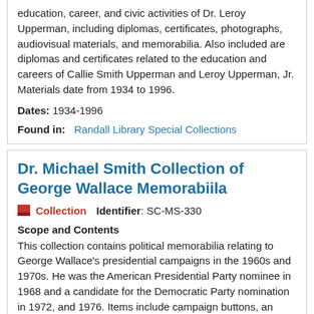education, career, and civic activities of Dr. Leroy Upperman, including diplomas, certificates, photographs, audiovisual materials, and memorabilia. Also included are diplomas and certificates related to the education and careers of Callie Smith Upperman and Leroy Upperman, Jr. Materials date from 1934 to 1996.
Dates: 1934-1996
Found in: Randall Library Special Collections
Dr. Michael Smith Collection of George Wallace Memorabiila
Collection   Identifier: SC-MS-330
Scope and Contents
This collection contains political memorabilia relating to George Wallace's presidential campaigns in the 1960s and 1970s. He was the American Presidential Party nominee in 1968 and a candidate for the Democratic Party nomination in 1972, and 1976. Items include campaign buttons, an autographed